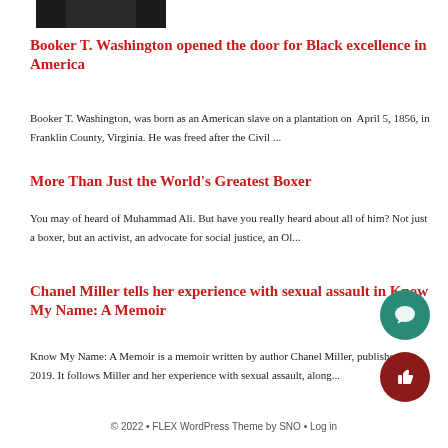[Figure (photo): Partial photo of a person at the top of the page]
Booker T. Washington opened the door for Black excellence in America
Booker T. Washington, was born as an American slave on a plantation on April 5, 1856, in Franklin County, Virginia. He was freed after the Civil ...
More Than Just the World's Greatest Boxer
You may of heard of Muhammad Ali. But have you really heard about all of him? Not just a boxer, but an activist, an advocate for social justice, an Ol...
Chanel Miller tells her experience with sexual assault in Know My Name: A Memoir
Know My Name: A Memoir is a memoir written by author Chanel Miller, published in 2019. It follows Miller and her experience with sexual assault, along...
© 2022 • FLEX WordPress Theme by SNO • Log in